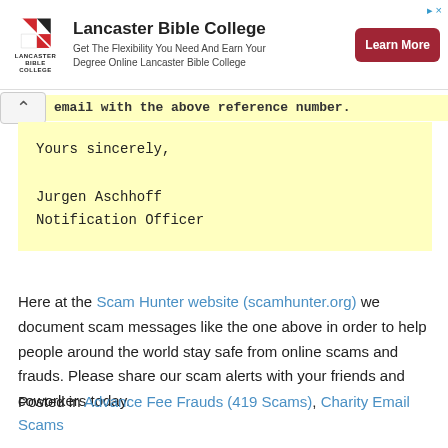[Figure (logo): Lancaster Bible College advertisement banner with logo, title, description text, and Learn More button]
email with the above reference number.
Yours sincerely,

Jurgen Aschhoff
Notification Officer
Here at the Scam Hunter website (scamhunter.org) we document scam messages like the one above in order to help people around the world stay safe from online scams and frauds. Please share our scam alerts with your friends and coworkers today.
Posted in Advance Fee Frauds (419 Scams), Charity Email Scams